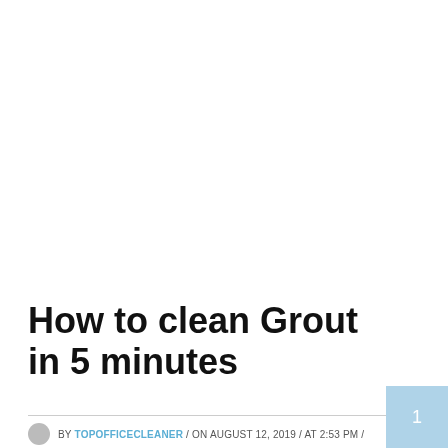How to clean Grout in 5 minutes
BY TOPOFFICECLEANER / ON AUGUST 12, 2019 / AT 2:53 PM /